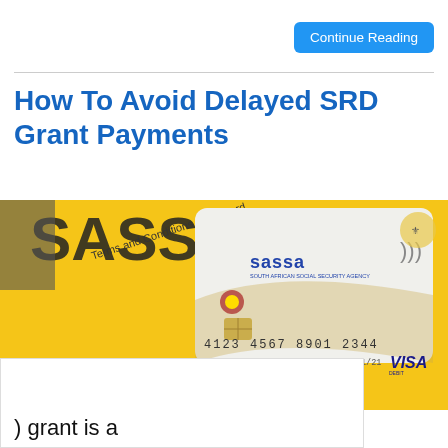Continue Reading
How To Avoid Delayed SRD Grant Payments
[Figure (photo): Photo of a SASSA card (South African Social Security Agency) showing a gold/white Visa debit card with number 4123 4567 8901 2344, expires 01/21, placed on a yellow SASSA brochure.]
Advertisement
[Figure (logo): CareersPortal logo - circular grey logo with text]
Unemployed Graduate?
) grant is a